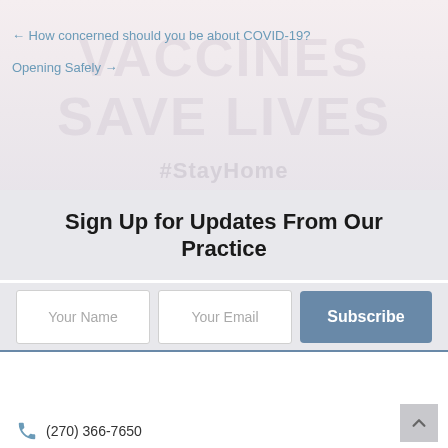← How concerned should you be about COVID-19?
Opening Safely →
Sign Up for Updates From Our Practice
[Figure (screenshot): Web form with Your Name input, Your Email input, and Subscribe button]
[Figure (logo): Advanced Internal Medicine logo with blue square grid and text]
(270) 366-7650